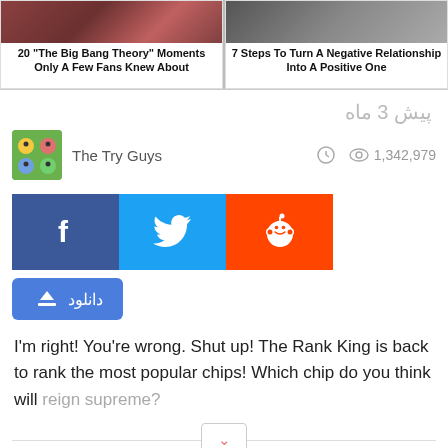[Figure (screenshot): Two article thumbnail cards side by side. Left: '20 "The Big Bang Theory" Moments Only A Few Fans Knew About'. Right: '7 Steps To Turn A Negative Relationship Into A Positive One']
پیش 3 ماه
[Figure (illustration): The Try Guys channel thumbnail icon - cartoon faces]
The Try Guys
1,342,979
[Figure (screenshot): Social share buttons: Facebook (blue), Twitter (light blue), Reddit (orange)]
دانلود
I'm right! You're wrong. Shut up! The Rank King is back to rank the most popular chips! Which chip do you think will reign supreme?
[Figure (screenshot): Like/heart button bar at bottom, red background with heart icon and 0 count]